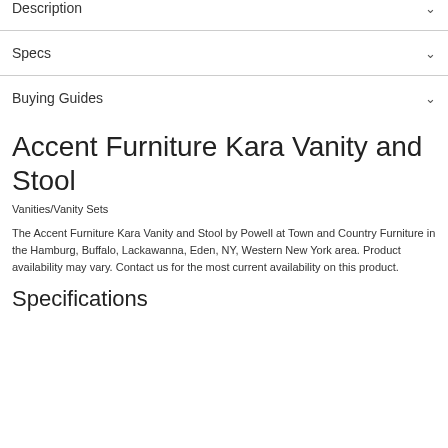Description
Specs
Buying Guides
Accent Furniture Kara Vanity and Stool
Vanities/Vanity Sets
The Accent Furniture Kara Vanity and Stool by Powell at Town and Country Furniture in the Hamburg, Buffalo, Lackawanna, Eden, NY, Western New York area. Product availability may vary. Contact us for the most current availability on this product.
Specifications